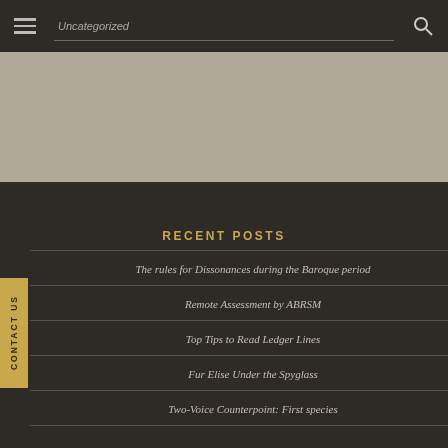Uncategorized
[Figure (screenshot): Website navigation bar with hamburger menu, search input, and search icon on dark brown background]
[Figure (photo): Beige/taupe hero banner area]
RECENT POSTS
The rules for Dissonances during the Baroque period
Remote Assessment by ABRSM
Top Tips to Read Ledger Lines
Fur Elise Under the Spyglass
Two-Voice Counterpoint: First species